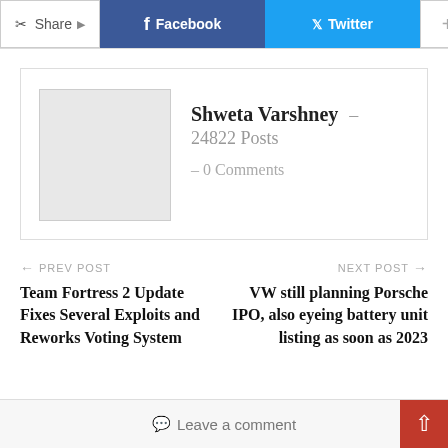[Figure (other): Social share bar with Share label, Facebook button, Twitter button, and plus button]
Shweta Varshney - 24822 Posts - 0 Comments
← PREV POST
Team Fortress 2 Update Fixes Several Exploits and Reworks Voting System
NEXT POST →
VW still planning Porsche IPO, also eyeing battery unit listing as soon as 2023
Leave a comment